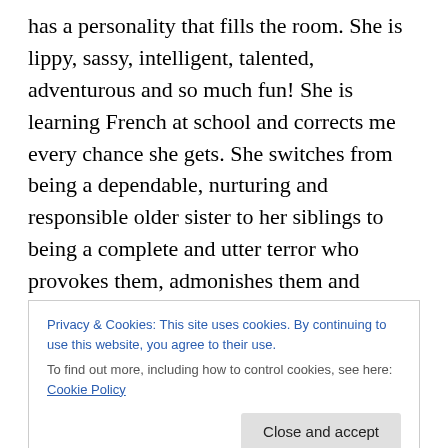has a personality that fills the room. She is lippy, sassy, intelligent, talented, adventurous and so much fun! She is learning French at school and corrects me every chance she gets. She switches from being a dependable, nurturing and responsible older sister to her siblings to being a complete and utter terror who provokes them, admonishes them and outsmarts them into giving her what she wants. She is innocent, inquisitive and so immensely intuitive. She reads chapter books and she loves to act like a grown-up. I can't tell you how bright and loud our world is because she is in it.
Privacy & Cookies: This site uses cookies. By continuing to use this website, you agree to their use. To find out more, including how to control cookies, see here: Cookie Policy
Close and accept
ring of friends, told her not to give them a common flu or t...